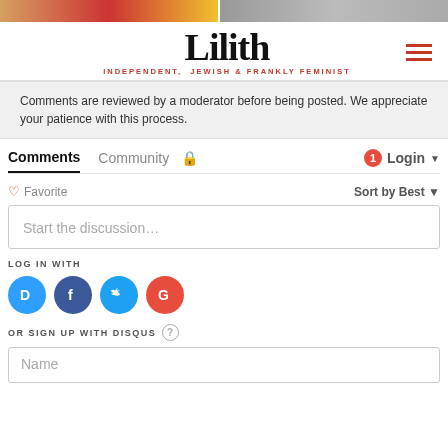[Figure (photo): Two cropped images side by side at top of page]
Lilith
INDEPENDENT, JEWISH & FRANKLY FEMINIST
Comments are reviewed by a moderator before being posted. We appreciate your patience with this process.
Comments  Community  🔒  1  Login ▾
♡ Favorite  Sort by Best ▾
Start the discussion…
LOG IN WITH
[Figure (logo): Social login icons: Disqus (D), Facebook (f), Twitter (bird), Google (G)]
OR SIGN UP WITH DISQUS ?
Name